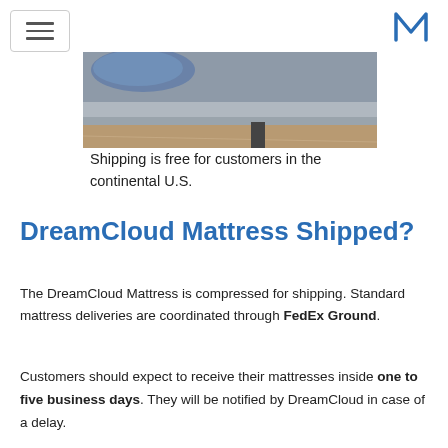[Navigation header with hamburger menu and M logo]
[Figure (photo): Partial photo of a mattress on a wooden floor with a blue pillow visible, showing the side of a grey upholstered bed frame]
Shipping is free for customers in the continental U.S.
DreamCloud Mattress Shipped?
The DreamCloud Mattress is compressed for shipping. Standard mattress deliveries are coordinated through FedEx Ground.
Customers should expect to receive their mattresses inside one to five business days. They will be notified by DreamCloud in case of a delay.